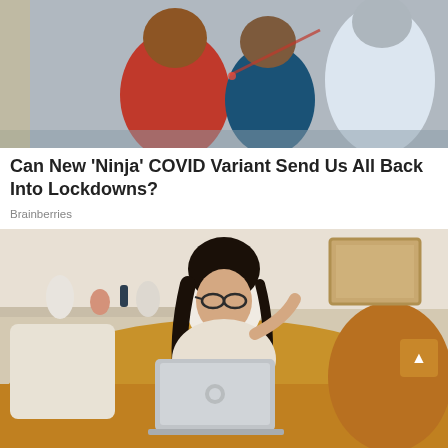[Figure (photo): COVID testing scene: person in red shirt being tested by healthcare worker in PPE/white protective equipment]
Can New ‘Ninja’ COVID Variant Send Us All Back Into Lockdowns?
Brainberries
[Figure (photo): Young woman with glasses wearing a cream sweater using a MacBook laptop while sitting in bed with golden/mustard orange bedding and pillows]
Wade Through The Chaos And Carve Out Some Much-Needed Me-Time